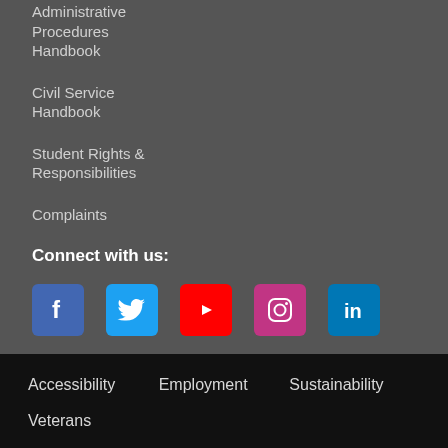Administrative Procedures Handbook
Civil Service Handbook
Student Rights & Responsibilities
Complaints
Connect with us:
[Figure (other): Social media icons: Facebook, Twitter, YouTube, Instagram, LinkedIn]
Accessibility
Employment
Sustainability
Veterans